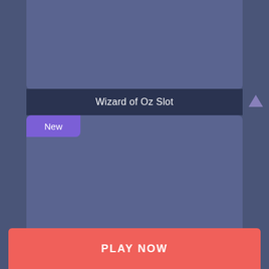[Figure (screenshot): Top card area - blue-grey rectangle placeholder image]
Wizard of Oz Slot
[Figure (screenshot): Bottom card area with New badge - blue-grey rectangle placeholder image]
New
PLAY NOW